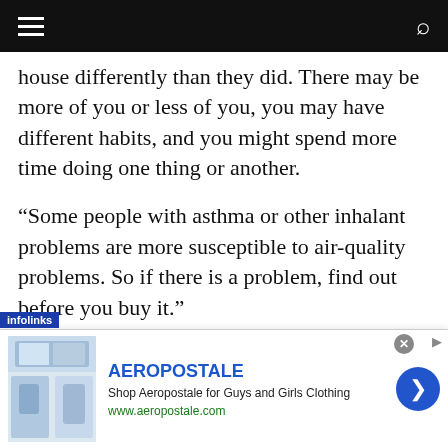[Navigation bar with hamburger menu and search icon]
house differently than they did. There may be more of you or less of you, you may have different habits, and you might spend more time doing one thing or another.
“Some people with asthma or other inhalant problems are more susceptible to air-quality problems. So if there is a problem, find out before you buy it.”
Although the EPA says the human reaction to mold from person to person, even small amounts of
[Figure (screenshot): Advertisement banner for Aeropostale with blue brand name, product images of clothing, subtext 'Shop Aeropostale for Guys and Girls Clothing', URL www.aeropostale.com, and a blue circular arrow button. Infolinks label in bottom-left corner.]